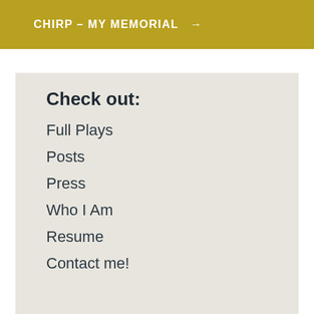CHIRP – MY MEMORIAL →
Check out:
Full Plays
Posts
Press
Who I Am
Resume
Contact me!